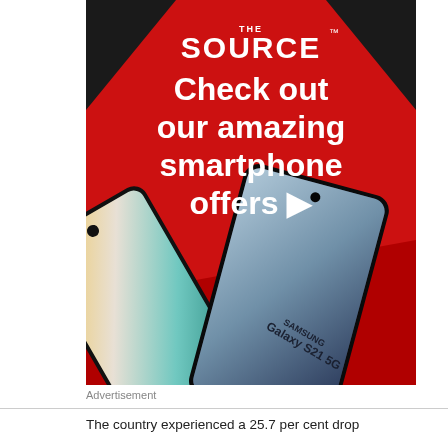[Figure (illustration): The Source advertisement banner showing two Samsung Galaxy smartphones (Galaxy S21 5G and another model) on a red background with the text 'Check out our amazing smartphone offers' in white]
Advertisement
The country experienced a 25.7 per cent drop